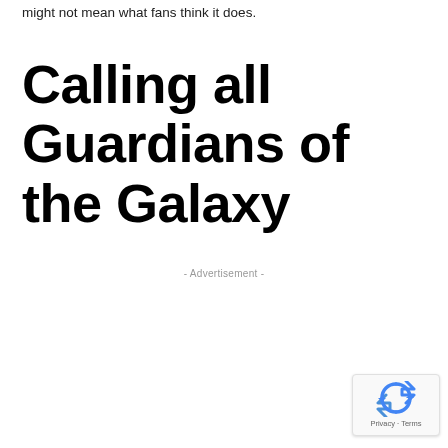might not mean what fans think it does.
Calling all Guardians of the Galaxy
- Advertisement -
[Figure (logo): reCAPTCHA badge with recycle-arrow logo icon and Privacy - Terms text]